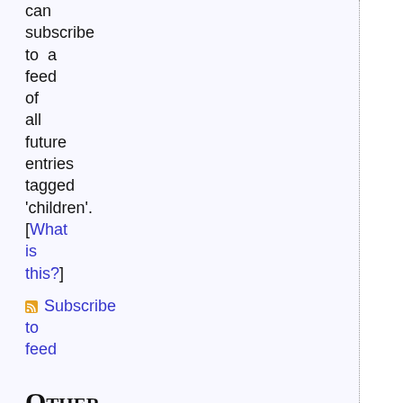can subscribe to a feed of all future entries tagged 'children'. [What is this?]
Subscribe to feed
Other Tags
Other tags used on